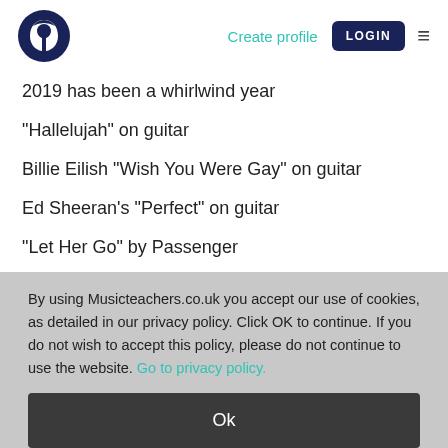Musicteachers.co.uk — Create profile | LOGIN
2019 has been a whirlwind year
"Hallelujah" on guitar
Billie Eilish "Wish You Were Gay" on guitar
Ed Sheeran's "Perfect" on guitar
"Let Her Go" by Passenger
"S...Tonight" by Early Eve Sheeran... (cut off)
By using Musicteachers.co.uk you accept our use of cookies, as detailed in our privacy policy. Click OK to continue. If you do not wish to accept this policy, please do not continue to use the website. Go to privacy policy.
Ok